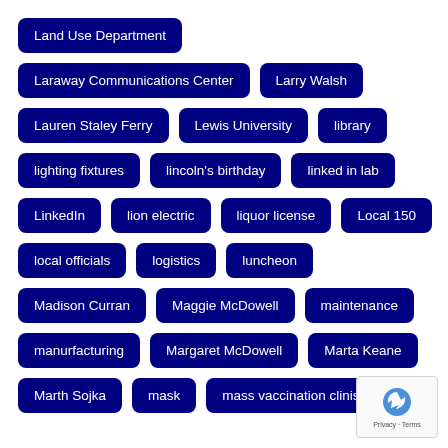Land Use Department
Laraway Communications Center
Larry Walsh
Lauren Staley Ferry
Lewis University
library
lighting fixtures
lincoln's birthday
linked in lab
LinkedIn
lion electric
liquor license
Local 150
local officials
logistics
luncheon
Madison Curran
Maggie McDowell
maintenance
manurfacturing
Margaret McDowell
Marta Keane
Marth Sojka
mask
mass vaccination clinis